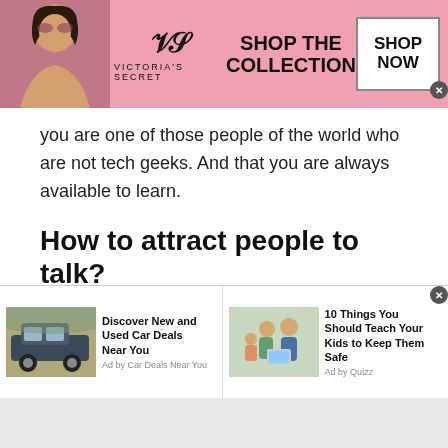[Figure (screenshot): Victoria's Secret advertisement banner with pink background, model on left, VS logo and 'SHOP THE COLLECTION' text in center, 'SHOP NOW' button on right]
you are one of those people of the world who are not tech geeks. And that you are always available to learn.
How to attract people to talk?
Now since you will be on a platform where chat with people of Brunei Darussalam or talking to a stranger is the key priority. However, there are some
[Figure (screenshot): Bottom advertisement bar with two ads: 'Discover New and Used Car Deals Near You' (Ad by Car Deals Near You) and '10 Things You Should Teach Your Kids to Keep Them Safe' (Ad by Quizz)]